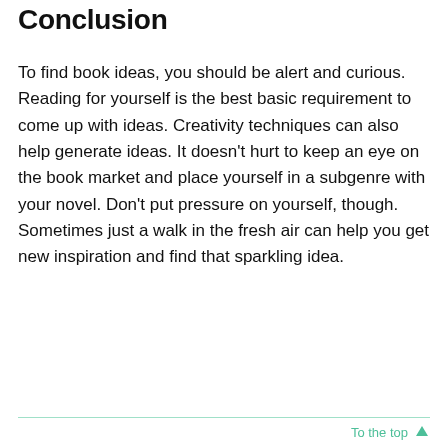Conclusion
To find book ideas, you should be alert and curious. Reading for yourself is the best basic requirement to come up with ideas. Creativity techniques can also help generate ideas. It doesn't hurt to keep an eye on the book market and place yourself in a subgenre with your novel. Don't put pressure on yourself, though. Sometimes just a walk in the fresh air can help you get new inspiration and find that sparkling idea.
To the top ↑